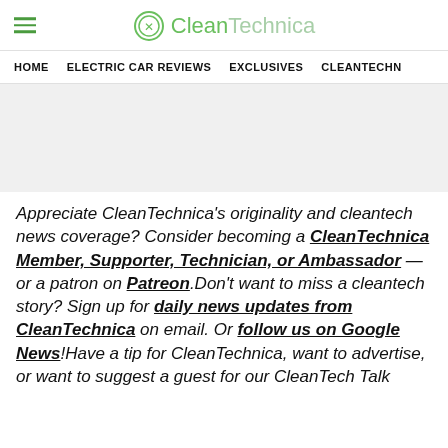CleanTechnica
HOME | ELECTRIC CAR REVIEWS | EXCLUSIVES | CLEANTECHU
Appreciate CleanTechnica's originality and cleantech news coverage? Consider becoming a CleanTechnica Member, Supporter, Technician, or Ambassador — or a patron on Patreon. Don't want to miss a cleantech story? Sign up for daily news updates from CleanTechnica on email. Or follow us on Google News! Have a tip for CleanTechnica, want to advertise, or want to suggest a guest for our CleanTech Talk